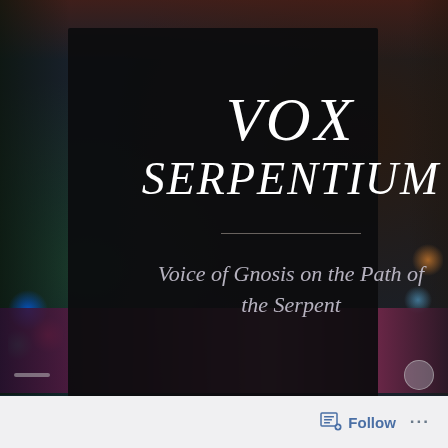[Figure (illustration): Book cover screenshot: dark atmospheric background with colorful bokeh lights on left and right edges, pink/magenta cloud-like strip at bottom. Central black rectangle contains the title 'VOX SERPENTIUM' in large italic white serif text, a thin horizontal divider, and subtitle 'Voice of Gnosis on the Path of the Serpent' in italic gray-white text. Below the cover image is a mobile app UI bar with Follow button and more options dots.]
VOX SERPENTIUM
Voice of Gnosis on the Path of the Serpent
Follow ...